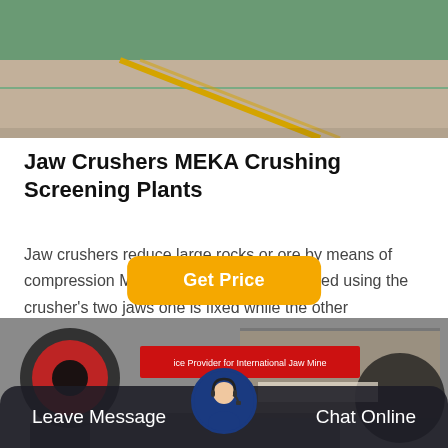[Figure (photo): Aerial/overhead view of industrial area with green and beige/sandy surfaces and a yellow diagonal line]
Jaw Crushers MEKA Crushing Screening Plants
Jaw crushers reduce large rocks or ore by means of compression Mechanical pressure is applied using the crusher’s two jaws one is fixed while the other reciprocates There are also primary and secondary types of these crushers Jaw crushers are one of the mo…
[Figure (photo): Industrial factory/plant exterior with machinery and a red banner sign]
Leave Message   Chat Online